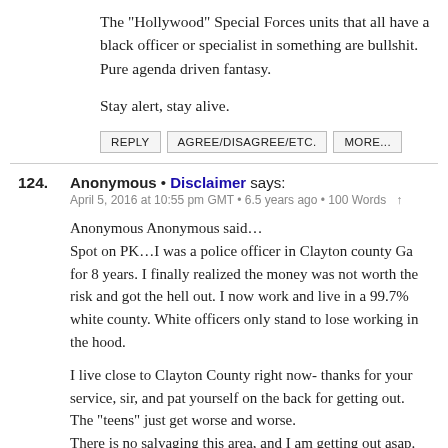The "Hollywood" Special Forces units that all have a black officer or specialist in something are bullshit. Pure agenda driven fantasy.
Stay alert, stay alive.
REPLY   AGREE/DISAGREE/ETC.   MORE...
124. Anonymous • Disclaimer says:
April 5, 2016 at 10:55 pm GMT • 6.5 years ago • 100 Words ↑
Anonymous Anonymous said…
Spot on PK…I was a police officer in Clayton county Ga for 8 years. I finally realized the money was not worth the risk and got the hell out. I now work and live in a 99.7% white county. White officers only stand to lose working in the hood.

I live close to Clayton County right now- thanks for your service, sir, and pat yourself on the back for getting out. The "teens" just get worse and worse.
There is no salvaging this area, and I am getting out asap.